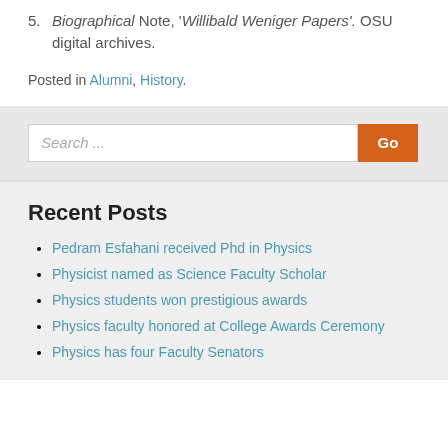5. Biographical Note, 'Willibald Weniger Papers'. OSU digital archives.
Posted in Alumni, History.
[Figure (other): Search bar with text input field labeled 'Search...' and an orange 'Go' button]
Recent Posts
Pedram Esfahani received Phd in Physics
Physicist named as Science Faculty Scholar
Physics students won prestigious awards
Physics faculty honored at College Awards Ceremony
Physics has four Faculty Senators